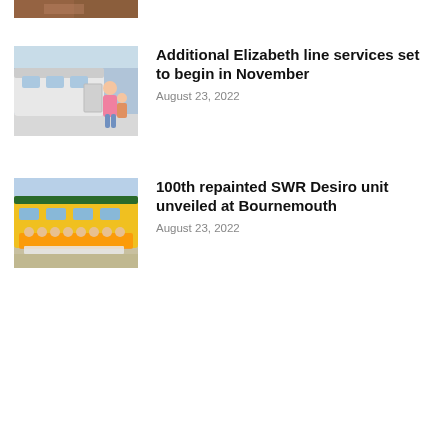[Figure (photo): Partial view of a news article thumbnail at the top of the page (cropped)]
[Figure (photo): Woman with child standing on platform next to a modern white Elizabeth line train]
Additional Elizabeth line services set to begin in November
August 23, 2022
[Figure (photo): Group of people in high-visibility vests posing in front of a yellow SWR Desiro train at Bournemouth]
100th repainted SWR Desiro unit unveiled at Bournemouth
August 23, 2022